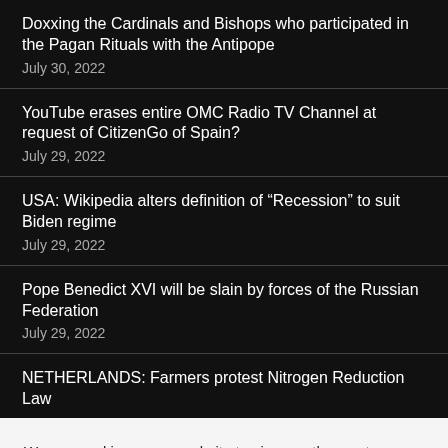Doxxing the Cardinals and Bishops who participated in the Pagan Rituals with the Antipope
July 30, 2022
YouTube erases entire OMC Radio TV Channel at request of CitizenGo of Spain?
July 29, 2022
USA: Wikipedia alters definition of “Recession” to suit Biden regime
July 29, 2022
Pope Benedict XVI will be slain by forces of the Russian Federation
July 29, 2022
NETHERLANDS: Farmers protest Nitrogen Reduction Law
We use cookies on our website to give you the most relevant experience by remembering your preferences and repeat visits. By clicking “Accept All”, you consent to the use of ALL the cookies. However, you may visit "Cookie Settings" to provide a controlled consent.